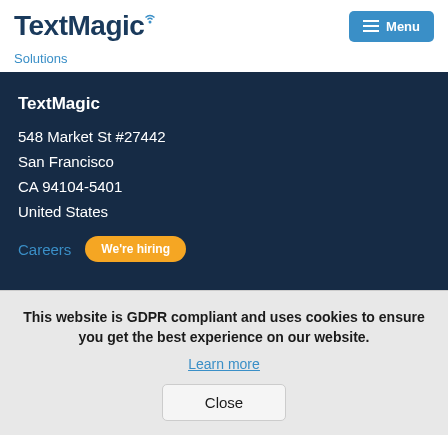TextMagic | Menu
Solutions
TextMagic
548 Market St #27442
San Francisco
CA 94104-5401
United States
Careers  We're hiring
This website is GDPR compliant and uses cookies to ensure you get the best experience on our website. Learn more
Close